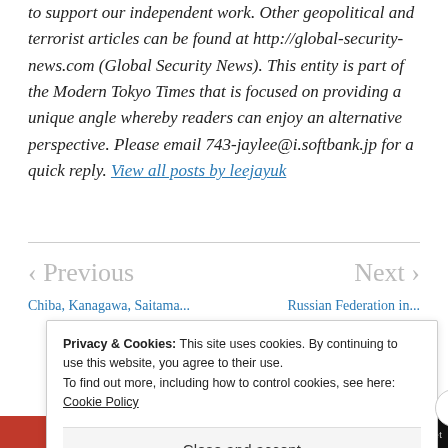to support our independent work. Other geopolitical and terrorist articles can be found at http://global-security-news.com (Global Security News). This entity is part of the Modern Tokyo Times that is focused on providing a unique angle whereby readers can enjoy an alternative perspective. Please email 743-jaylee@i.softbank.jp for a quick reply. View all posts by leejayuk
< Previous   Next >
Chiba, Kanagawa, Saitama...   Russian Federation in...
Privacy & Cookies: This site uses cookies. By continuing to use this website, you agree to their use. To find out more, including how to control cookies, see here: Cookie Policy
Close and accept